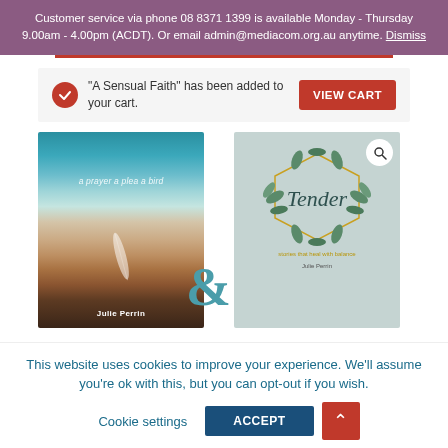Customer service via phone 08 8371 1399 is available Monday - Thursday 9.00am - 4.00pm (ACDT). Or email admin@mediacom.org.au anytime. Dismiss
"A Sensual Faith" has been added to your cart.
VIEW CART
[Figure (photo): Two book covers side by side: left book shows a beach aerial photo with text 'a prayer a plea a bird' and author 'Julie Perrin'; right book shows 'Tender' with a watercolor floral wreath design by Julie Perrin. A teal ampersand symbol appears between them.]
This website uses cookies to improve your experience. We'll assume you're ok with this, but you can opt-out if you wish.
Cookie settings
ACCEPT